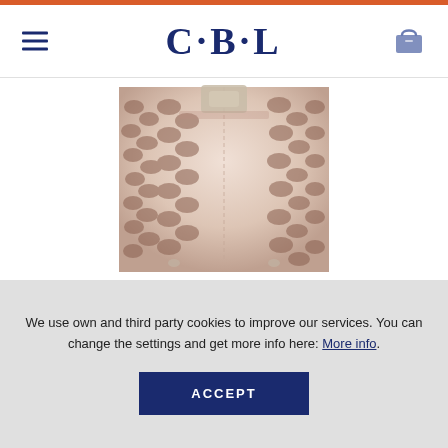C·B·L
[Figure (photo): Close-up photo of a Hermès Birkin bag in Himalayan crocodile skin with diamond clasp hardware, showing the textured pale pink-white crocodile leather and silver hardware details]
THE BIRKIN IN HIMALAYAN CROCODILE SKIN WITH DIAMOND CLASP, THE MOST EXPENSIVE IN HISTORY.
We use own and third party cookies to improve our services. You can change the settings and get more info here: More info.